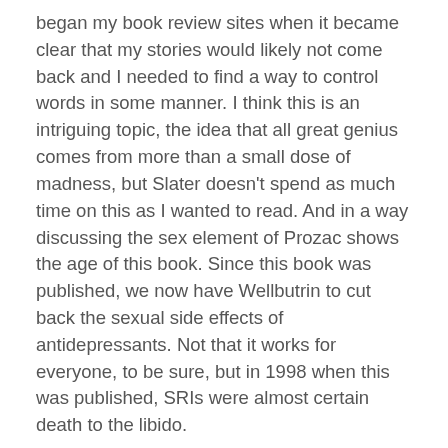began my book review sites when it became clear that my stories would likely not come back and I needed to find a way to control words in some manner. I think this is an intriguing topic, the idea that all great genius comes from more than a small dose of madness, but Slater doesn't spend as much time on this as I wanted to read. And in a way discussing the sex element of Prozac shows the age of this book. Since this book was published, we now have Wellbutrin to cut back the sexual side effects of antidepressants. Not that it works for everyone, to be sure, but in 1998 when this was published, SRIs were almost certain death to the libido.
I also appreciated how Slater addressed the idea of diminishing returns on Prozac. No one ever told me either that Prozac could one day stop